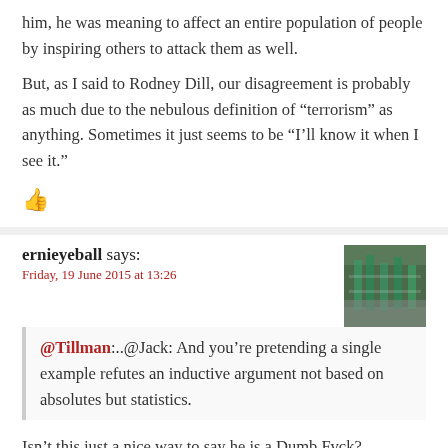him, he was meaning to affect an entire population of people by inspiring others to attack them as well.
But, as I said to Rodney Dill, our disagreement is probably as much due to the nebulous definition of “terrorism” as anything. Sometimes it just seems to be “I’ll know it when I see it.”
[Figure (other): Red thumbs up icon]
ernieyeball says:
Friday, 19 June 2015 at 13:26
[Figure (photo): Avatar photo of ernieyeball showing an indoor scene with green structures]
@Tillman:..@Jack: And you’re pretending a single example refutes an inductive argument not based on absolutes but statistics.
Isn’t this just a nice way to say he is a Dumb Fvck?
[Figure (other): Red thumbs up icon]